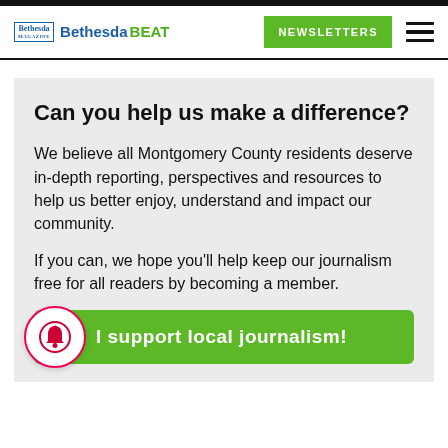Bethesda Bethesda BEAT | NEWSLETTERS
Can you help us make a difference?
We believe all Montgomery County residents deserve in-depth reporting, perspectives and resources to help us better enjoy, understand and impact our community.
If you can, we hope you'll help keep our journalism free for all readers by becoming a member.
I support local journalism!